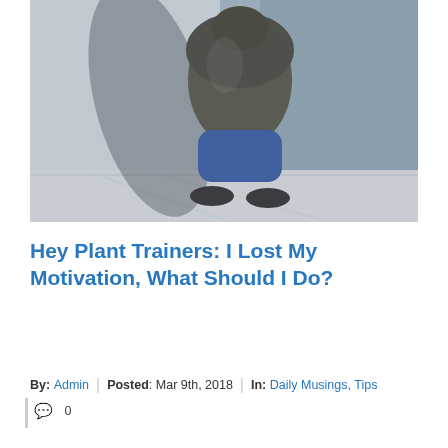[Figure (photo): A person crouching against a wall with their hands covering their face, wearing a dark grey jacket and blue jeans with dark sneakers. The background shows a grey stone or concrete wall and floor in natural daylight.]
Hey Plant Trainers: I Lost My Motivation, What Should I Do?
By: Admin | Posted: Mar 9th, 2018 | In: Daily Musings, Tips
0